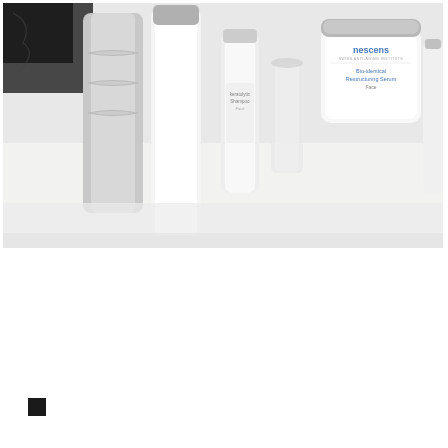[Figure (photo): Product photo showing a lineup of luxury skincare products (bottles, tubes, jars) in white and silver packaging on a white surface. One jar on the right shows the Nescens brand with text 'Bio-identical Restructuring Serum Face'. Another product in the center shows 'Keratolytic Shampoo Face'. Black marble-like object visible in background left.]
[Figure (other): Small solid black square in the bottom-left area of the page, possibly a registration mark or design element.]